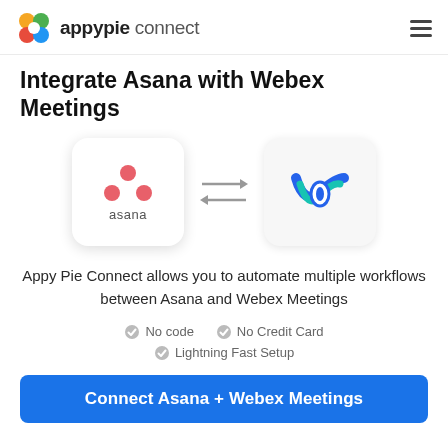appypie connect
Integrate Asana with Webex Meetings
[Figure (illustration): Asana app icon (white rounded square with Asana logo and text) and Webex Meetings app icon (white rounded square with Webex logo), connected by bidirectional arrows]
Appy Pie Connect allows you to automate multiple workflows between Asana and Webex Meetings
No code
No Credit Card
Lightning Fast Setup
Connect Asana + Webex Meetings